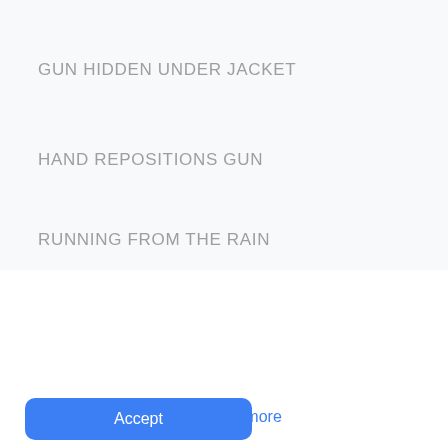GUN HIDDEN UNDER JACKET
HAND REPOSITIONS GUN
RUNNING FROM THE RAIN
This website uses cookies to ensure you receive the best experience. By clicking "Accept" you are agreeing to our cookie policy. You can change your cookies setting at any time and read how we use them in our  Privacy &  Cookies Policy.
Accept
Learn more